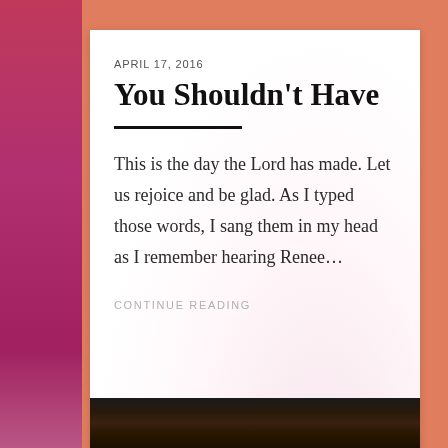APRIL 17, 2016
You Shouldn't Have
This is the day the Lord has made. Let us rejoice and be glad. As I typed those words, I sang them in my head as I remember hearing Renee…
CONTINUE READING